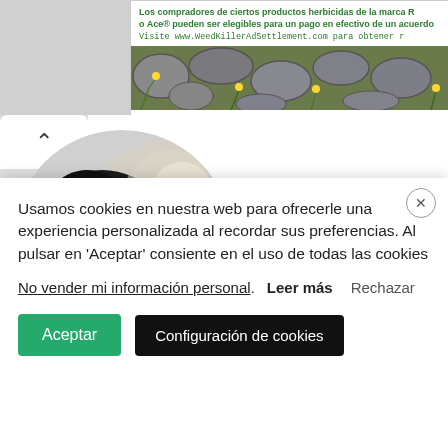[Figure (screenshot): Advertisement banner showing text about herbicide brand settlement in Spanish and an image of stones with yellow flowers]
[Figure (photo): Circular profile/product photo showing a black and white garment or person against a light background]
Cuello Unisex tejido en Punto Rombos en Relieve
Usamos cookies en nuestra web para ofrecerle una experiencia personalizada al recordar sus preferencias. Al pulsar en 'Aceptar' consiente en el uso de todas las cookies
No vender mi información personal. Leer más Rechazar
Aceptar
Configuración de cookies